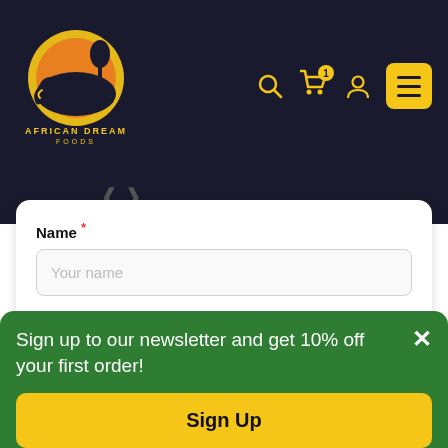[Figure (logo): African Dream Foods logo: elephant and tree silhouette against orange/yellow sun circle on dark background, with text AFRICAN DREAM FOODS]
[Figure (screenshot): Navigation icons: search, cart with badge '1', user account, yellow hamburger menu button]
Name *
Your name
Email (it will not be published) *
Your email address
Sign up to our newsletter and get 10% off your first order!
Sign Up